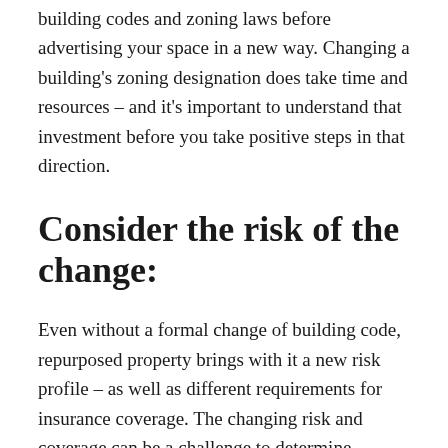building codes and zoning laws before advertising your space in a new way. Changing a building's zoning designation does take time and resources – and it's important to understand that investment before you take positive steps in that direction.
Consider the risk of the change:
Even without a formal change of building code, repurposed property brings with it a new risk profile – as well as different requirements for insurance coverage. The changing risk and coverage can be a challenge to determine, especially if there is a vacancy clause in effect that nullified coverage or altered terms and conditions. Uncleared vacancies can make it difficult to secure new